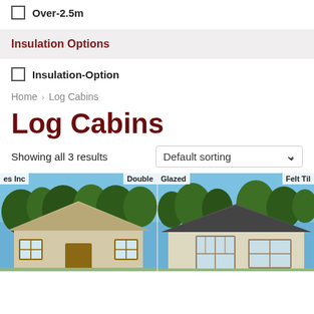Over-2.5m
Insulation Options
Insulation-Option
Home > Log Cabins
Log Cabins
Showing all 3 results
[Figure (screenshot): Two log cabin product cards showing exterior photos with badges 'es Inc', 'Double', 'Glazed', 'Felt Til']